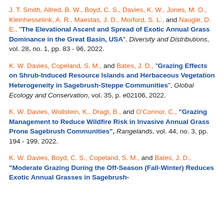J. T. Smith, Allred, B. W., Boyd, C. S., Davies, K. W., Jones, M. O., Kleinhesselink, A. R., Maestas, J. D., Morford, S. L., and Naugle, D. E., "The Elevational Ascent and Spread of Exotic Annual Grass Dominance in the Great Basin, USA", Diversity and Distributions, vol. 28, no. 1, pp. 83 - 96, 2022.
K. W. Davies, Copeland, S. M., and Bates, J. D., "Grazing Effects on Shrub-Induced Resource Islands and Herbaceous Vegetation Heterogeneity in Sagebrush-Steppe Communities", Global Ecology and Conservation, vol. 35, p. e02106, 2022.
K. W. Davies, Wollstein, K., Dragt, B., and O'Connor, C., "Grazing Management to Reduce Wildfire Risk in Invasive Annual Grass Prone Sagebrush Communities", Rangelands, vol. 44, no. 3, pp. 194 - 199, 2022.
K. W. Davies, Boyd, C. S., Copeland, S. M., and Bates, J. D., "Moderate Grazing During the Off-Season (Fall-Winter) Reduces Exotic Annual Grasses in Sagebrush-